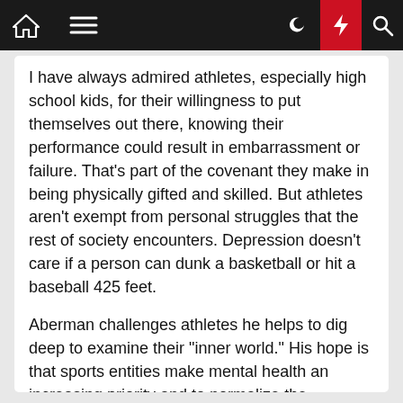[Navigation bar with home, menu, dark mode, lightning, search icons]
I have always admired athletes, especially high school kids, for their willingness to put themselves out there, knowing their performance could result in embarrassment or failure. That's part of the covenant they make in being physically gifted and skilled. But athletes aren't exempt from personal struggles that the rest of society encounters. Depression doesn't care if a person can dunk a basketball or hit a baseball 425 feet.
Aberman challenges athletes he helps to dig deep to examine their "inner world." His hope is that sports entities make mental health an increasing priority and to normalize the conversation. His overarching message to athletes: Ask for help.